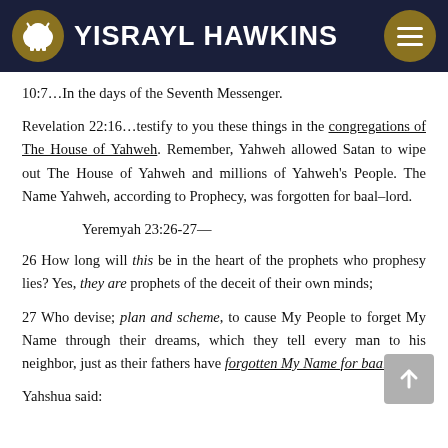YISRAYL HAWKINS
10:7…In the days of the Seventh Messenger.
Revelation 22:16…testify to you these things in the congregations of The House of Yahweh. Remember, Yahweh allowed Satan to wipe out The House of Yahweh and millions of Yahweh's People. The Name Yahweh, according to Prophecy, was forgotten for baal–lord.
Yeremyah 23:26-27—
26 How long will this be in the heart of the prophets who prophesy lies? Yes, they are prophets of the deceit of their own minds;
27 Who devise; plan and scheme, to cause My People to forget My Name through their dreams, which they tell every man to his neighbor, just as their fathers have forgotten My Name for baal; lord.
Yahshua said: